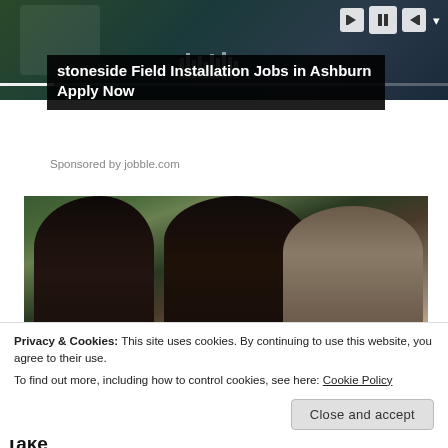[Figure (screenshot): Video player banner with dark background showing a person outdoors. Progress bar at bottom, playback controls (prev, pause, next) at top right.]
stoneside Field Installation Jobs in Ashburn Apply Now
Sponsored by jobble.com
[Figure (photo): Photo of three smiling people: a woman on the left with dark hair, a younger woman in the center, and an older man on the right — appearing to be Michelle Obama, Sasha Obama, and Barack Obama — in front of green foliage.]
Privacy & Cookies: This site uses cookies. By continuing to use this website, you agree to their use.
To find out more, including how to control cookies, see here: Cookie Policy
Close and accept
[Gallery] The New Obama Mansion Cost $8.1M, Take